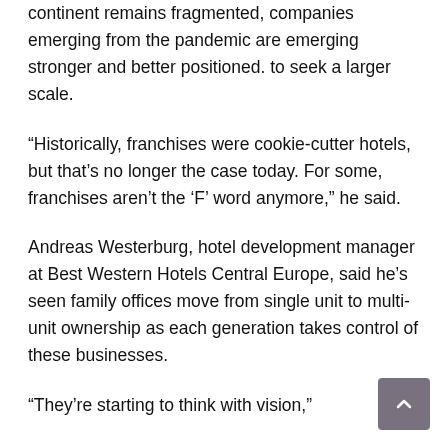continent remains fragmented, companies emerging from the pandemic are emerging stronger and better positioned. to seek a larger scale.
“Historically, franchises were cookie-cutter hotels, but that’s no longer the case today. For some, franchises aren’t the ‘F’ word anymore,” he said.
Andreas Westerburg, hotel development manager at Best Western Hotels Central Europe, said he’s seen family offices move from single unit to multi-unit ownership as each generation takes control of these businesses.
“They’re starting to think with vision,”